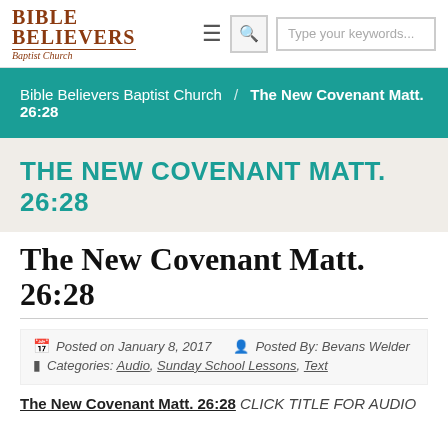[Figure (logo): Bible Believers Baptist Church logo with text]
Bible Believers Baptist Church  /  The New Covenant Matt. 26:28
THE NEW COVENANT MATT. 26:28
The New Covenant Matt. 26:28
Posted on January 8, 2017   Posted By: Bevans Welder
Categories: Audio, Sunday School Lessons, Text
The New Covenant Matt. 26:28  CLICK TITLE FOR AUDIO